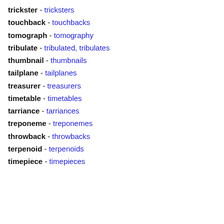trickster - tricksters
touchback - touchbacks
tomograph - tomography
tribulate - tribulated, tribulates
thumbnail - thumbnails
tailplane - tailplanes
treasurer - treasurers
timetable - timetables
tarriance - tarriances
treponeme - treponemes
throwback - throwbacks
terpenoid - terpenoids
timepiece - timepieces